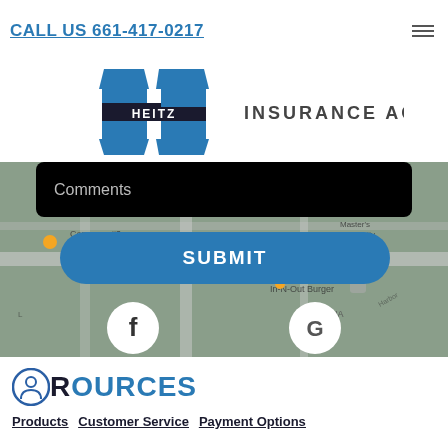CALL US 661-417-0217
[Figure (logo): Heitz Insurance Agency logo with stylized H emblem and text]
[Figure (screenshot): Website contact form screenshot showing Comments field and Submit button overlaid on Google Maps, with Facebook and Google review icons]
RESOURCES
Products
Customer Service
Payment Options